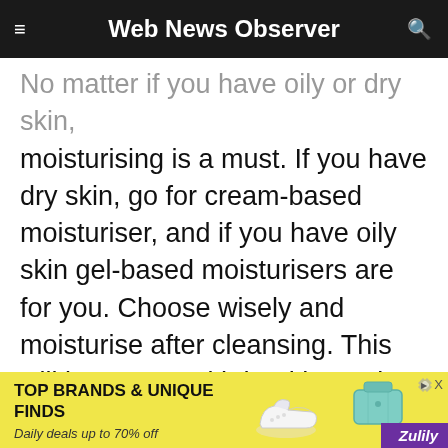Web News Observer
No matter if you have oily or dry skin, moisturising is a must. If you have dry skin, go for cream-based moisturiser, and if you have oily skin gel-based moisturisers are for you. Choose wisely and moisturise after cleansing. This will leave you with healthy and glowing skin over time.
[Figure (other): Advertisement banner for Zulily: TOP BRANDS & UNIQUE FINDS, Daily deals up to 70% off, with images of shoes and a handbag on yellow background]